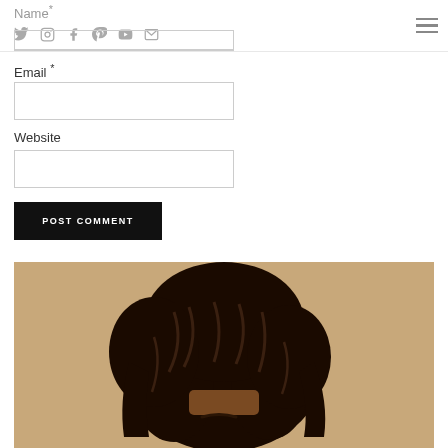Name * [social icons: twitter, instagram, facebook, pinterest, youtube, email] [hamburger menu]
Email *
Website
POST COMMENT
[Figure (photo): Portrait photo of a person with voluminous natural black hair against a beige/tan background]